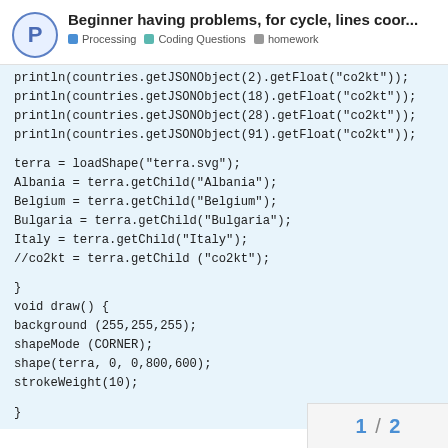Beginner having problems, for cycle, lines coor...
Processing   Coding Questions   homework
println(countries.getJSONObject(2).getFloat("co2kt"));
println(countries.getJSONObject(18).getFloat("co2kt"));
println(countries.getJSONObject(28).getFloat("co2kt"));
println(countries.getJSONObject(91).getFloat("co2kt"));

terra = loadShape("terra.svg");
Albania = terra.getChild("Albania");
Belgium = terra.getChild("Belgium");
Bulgaria = terra.getChild("Bulgaria");
Italy = terra.getChild("Italy");
//co2kt = terra.getChild ("co2kt");

}
void draw() {
background (255,255,255);
shapeMode (CORNER);
shape(terra, 0, 0,800,600);
strokeWeight(10);

}
1 / 2